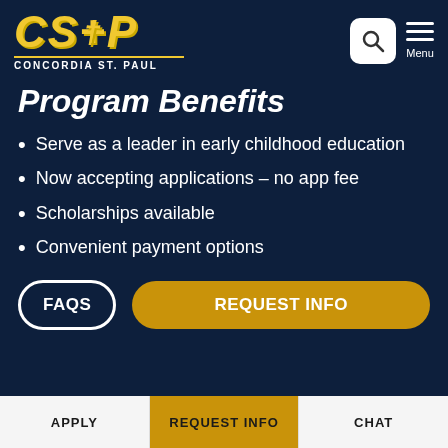[Figure (logo): CSP Concordia St. Paul logo in gold italic text with underline]
Program Benefits
Serve as a leader in early childhood education
Now accepting applications – no app fee
Scholarships available
Convenient payment options
APPLY | REQUEST INFO | CHAT